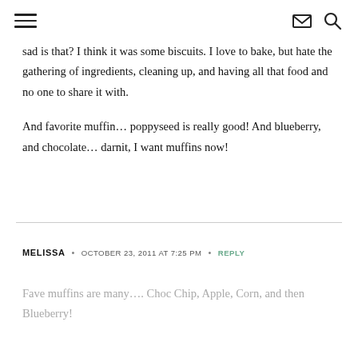≡ [menu icon] [envelope icon] [search icon]
sad is that? I think it was some biscuits. I love to bake, but hate the gathering of ingredients, cleaning up, and having all that food and no one to share it with.

And favorite muffin… poppyseed is really good! And blueberry, and chocolate… darnit, I want muffins now!
MELISSA  •  OCTOBER 23, 2011 AT 7:25 PM  •  REPLY
Fave muffins are many…. Choc Chip, Apple, Corn, and then Blueberry!